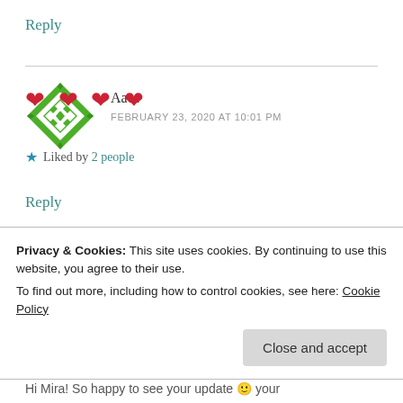Reply
[Figure (illustration): Green diamond-shaped avatar icon with white geometric pattern, resembling a quilt or mosaic design]
Aaee
FEBRUARY 23, 2020 AT 10:01 PM
❤❤❤❤
★ Liked by 2 people
Reply
Privacy & Cookies: This site uses cookies. By continuing to use this website, you agree to their use.
To find out more, including how to control cookies, see here: Cookie Policy
Close and accept
Hi Mira! So happy to see your update 🙂 your